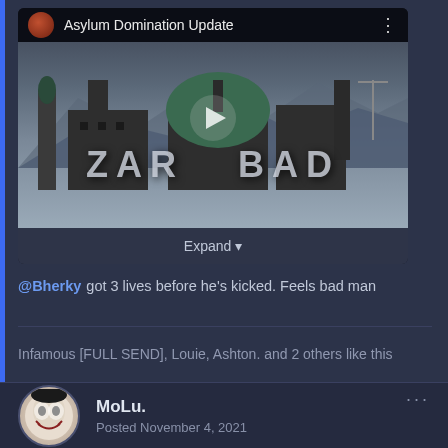[Figure (screenshot): Video thumbnail for 'Asylum Domination Update' showing Zargabad map with mosque/building skyline, play button overlay, dark top bar with avatar and title.]
Expand ▼
@Bherky got 3 lives before he's kicked. Feels bad man
Infamous [FULL SEND], Louie, Ashton. and 2 others like this
MoLu.
Posted November 4, 2021